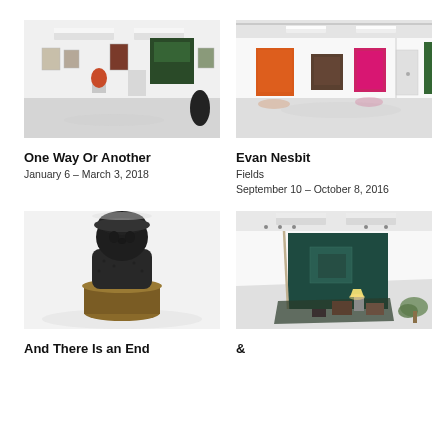[Figure (photo): Gallery interior with artwork on white walls, sculptures on pedestals, colorful paintings including dark blue/green large work]
One Way Or Another
January 6 – March 3, 2018
[Figure (photo): Gallery interior with brightly colored artworks on white walls, orange, brown, and pink/red paintings]
Evan Nesbit
Fields
September 10 – October 8, 2016
[Figure (photo): Dark sculptural bust of a figure wearing a hat, on a bronze pedestal, against white background]
[Figure (photo): Installation with dark teal green fabric backdrop, small objects including a lamp and boxes on a rug on gallery floor]
And There Is an End
&